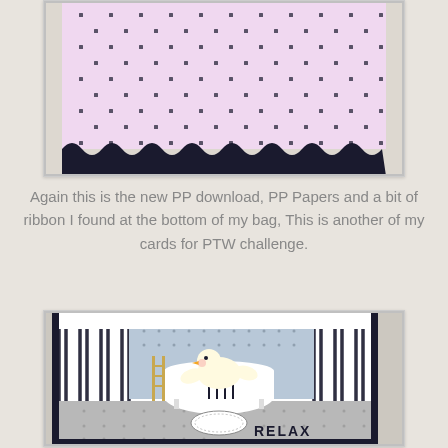[Figure (photo): Photo of a handmade card with pink polka dot patterned paper and black scalloped border trim]
Again this is the new PP download, PP Papers and a bit of ribbon I found at the bottom of my bag, This is another of my cards for PTW challenge.
[Figure (photo): Photo of a pop-up handmade card featuring a cartoon duck character in a bathtub with black and white striped patterned paper and the word RELAX on the floor panel]